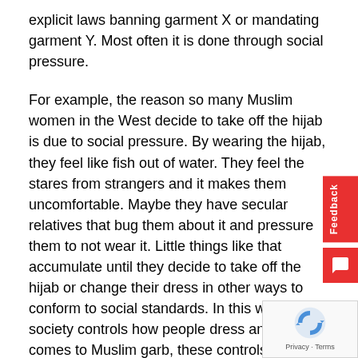explicit laws banning garment X or mandating garment Y. Most often it is done through social pressure.
For example, the reason so many Muslim women in the West decide to take off the hijab is due to social pressure. By wearing the hijab, they feel like fish out of water. They feel the stares from strangers and it makes them uncomfortable. Maybe they have secular relatives that bug them about it and pressure them to not wear it. Little things like that accumulate until they decide to take off the hijab or change their dress in other ways to conform to social standards. In this way, society controls how people dress and when it comes to Muslim garb, these controls are quite powerful and relentless.
So this whole notion of “free choice” makes no sense in the context of these powerful social pressures. People might experience their choices as self-generated even though the